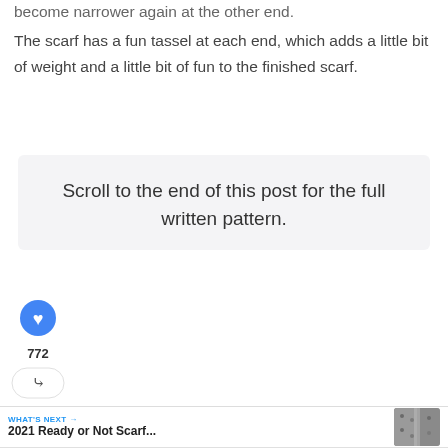become narrower again at the other end.
The scarf has a fun tassel at each end, which adds a little bit of weight and a little bit of fun to the finished scarf.
Scroll to the end of this post for the full written pattern.
[Figure (infographic): Heart like button (blue circle with heart icon), count 772, and share button]
[Figure (infographic): What's Next section with link to '2021 Ready or Not Scarf...' and a thumbnail image of knitted fabric]